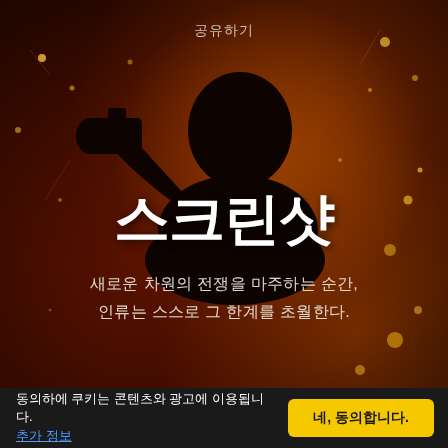[Figure (photo): Dark cinematic background with silhouette of a person holding a camera against a reddish-brown bokeh background with glowing spark particles]
공유하기
스크린샷
새로운 차원의 전쟁을 마주하는 순간,
인류는 스스로 그 한계를 초월한다.
동의하에 쿠키는 콘텐츠와 광고에 이용됩니다.
추가 정보
네, 동의합니다.